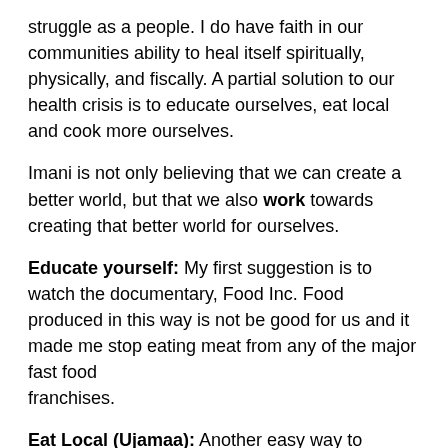struggle as a people. I do have faith in our communities ability to heal itself spiritually, physically, and fiscally. A partial solution to our health crisis is to educate ourselves, eat local and cook more ourselves.
Imani is not only believing that we can create a better world, but that we also work towards creating that better world for ourselves.
Educate yourself: My first suggestion is to watch the documentary, Food Inc. Food produced in this way is not be good for us and it made me stop eating meat from any of the major fast food franchises.
Eat Local (Ujamaa): Another easy way to contribute is to simply buy your food locally. Support your local farmers,